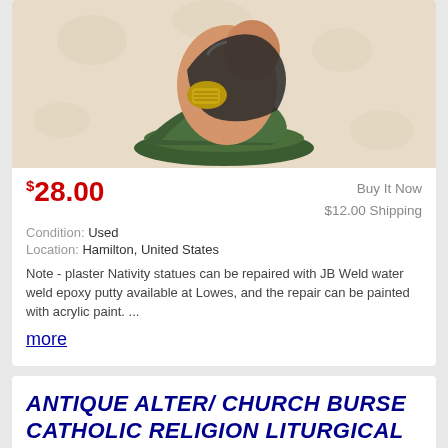[Figure (photo): Product photo of a plaster Nativity figurine with green base on a floral tablecloth background, shown from above]
$28.00
Buy It Now
$12.00 Shipping
Condition: Used
Location: Hamilton, United States
Note - plaster Nativity statues can be repaired with JB Weld water weld epoxy putty available at Lowes, and the repair can be painted with acrylic paint. ... more
ANTIQUE ALTER/ CHURCH BURSE CATHOLIC RELIGION LITURGICAL BLACK VELVET & GREEN
[Figure (photo): Bottom portion of a second product photo showing what appears to be a black velvet and green liturgical church burse item]